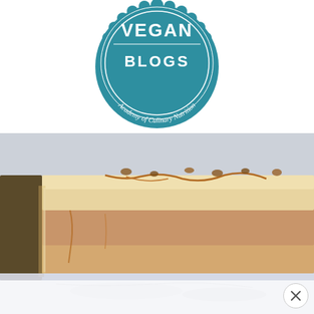[Figure (logo): Vegan Blogs badge logo from Academy of Culinary Nutrition — teal circular badge with text VEGAN BLOGS and curved text Academy of Culinary Nutrition]
[Figure (photo): Close-up food photo of a layered vegan dessert or ice cream cake slice in a glass baking dish, with caramel sauce and nuts on top, with a reflection visible at the bottom. A white overlay with an X close button appears at the bottom right.]